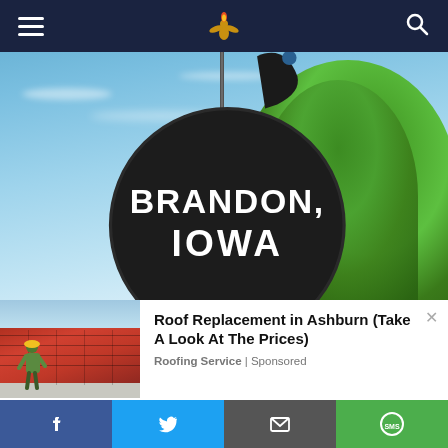Navigation bar with hamburger menu, site logo (eagle/torch icon), and search icon
[Figure (photo): Large outdoor photograph of a giant black cast-iron frying pan sign reading BRANDON, IOWA, mounted on a tall pole against a blue sky with green trees in the background]
[Figure (photo): Advertisement thumbnail showing workers replacing a roof with red tiles]
Roof Replacement in Ashburn (Take A Look At The Prices)
Roofing Service | Sponsored
Social share bar: Facebook, Twitter, Email, SMS